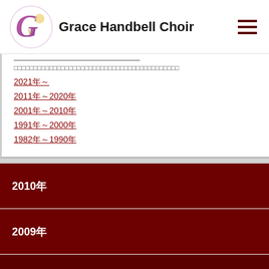Grace Handbell Choir
2021年～
2011年～2020年
2001年～2010年
1991年～2000年
1982年～1990年
2010年
2009年